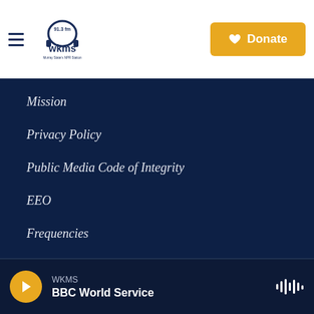WKMS 91.3 FM — Murray State's NPR Station header with Donate button
Mission
Privacy Policy
Public Media Code of Integrity
EEO
Frequencies
MSU Support
Terms of Use
WKMS — BBC World Service (player bar)